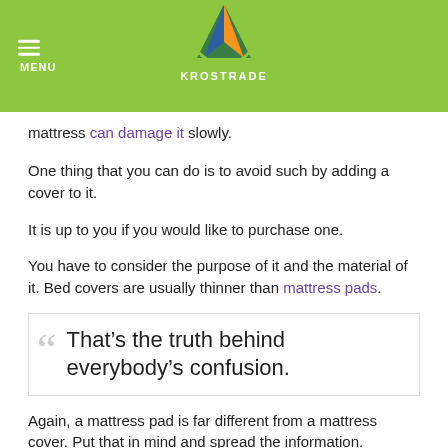MENU | KROSTRADE
mattress can damage it slowly.
One thing that you can do is to avoid such by adding a cover to it.
It is up to you if you would like to purchase one.
You have to consider the purpose of it and the material of it. Bed covers are usually thinner than mattress pads.
That’s the truth behind everybody’s confusion.
Again, a mattress pad is far different from a mattress cover. Put that in mind and spread the information.